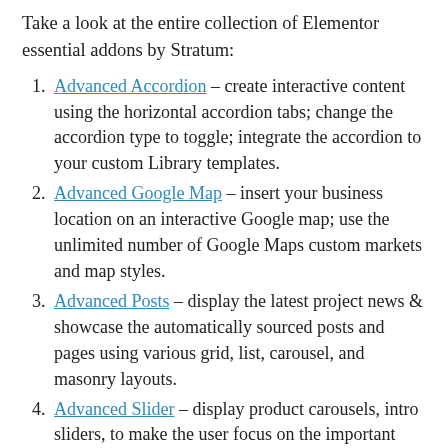Take a look at the entire collection of Elementor essential addons by Stratum:
Advanced Accordion – create interactive content using the horizontal accordion tabs; change the accordion type to toggle; integrate the accordion to your custom Library templates.
Advanced Google Map – insert your business location on an interactive Google map; use the unlimited number of Google Maps custom markets and map styles.
Advanced Posts – display the latest project news & showcase the automatically sourced posts and pages using various grid, list, carousel, and masonry layouts.
Advanced Slider – display product carousels, intro sliders, to make the user focus on the important message; alter the number of columns, horizontal and vertical scrolling, navigation, etc.